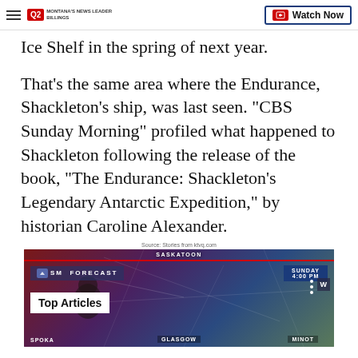Q2 Montana's News Leader | Watch Now
Ice Shelf in the spring of next year.
That's the same area where the Endurance, Shackleton's ship, was last seen. "CBS Sunday Morning" profiled what happened to Shackleton following the release of the book, "The Endurance: Shackleton's Legendary Antarctic Expedition," by historian Caroline Alexander.
Source: Stories from ktvq.com
[Figure (screenshot): Video thumbnail showing a weather forecast map with SASKATOON label at top, a weather broadcast graphic with SM FORECAST and SUNDAY 4:00 PM labels, Top Articles overlay box, and bottom city labels SPOKA, GLASGOW, MINOT]